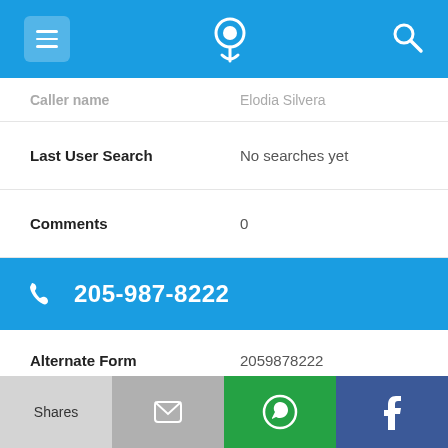[Figure (screenshot): Mobile app top navigation bar with hamburger menu, phone locator logo, and search icon on blue background]
Caller name   Elodia Silvera
Last User Search   No searches yet
Comments   0
205-987-8222
Alternate Form   2059878222
Caller name   Allen Holcomb
Last User Search   No searches yet
[Figure (screenshot): Bottom action bar with Shares, Email, WhatsApp, and Facebook buttons]